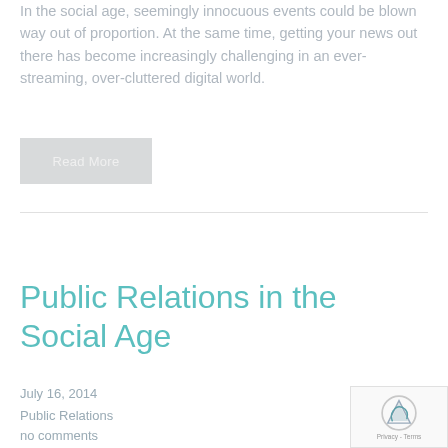In the social age, seemingly innocuous events could be blown way out of proportion. At the same time, getting your news out there has become increasingly challenging in an ever-streaming, over-cluttered digital world.
Read More
Public Relations in the Social Age
July 16, 2014
Public Relations
no comments
[Figure (other): reCAPTCHA logo with Privacy - Terms text overlay in bottom right corner]